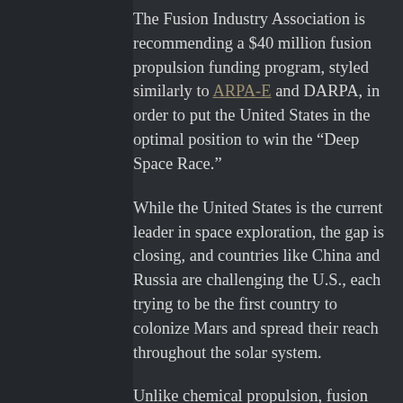The Fusion Industry Association is recommending a $40 million fusion propulsion funding program, styled similarly to ARPA-E and DARPA, in order to put the United States in the optimal position to win the “Deep Space Race.”
While the United States is the current leader in space exploration, the gap is closing, and countries like China and Russia are challenging the U.S., each trying to be the first country to colonize Mars and spread their reach throughout the solar system.
Unlike chemical propulsion, fusion technology will be able to bring heavy loads, like humans, to Mars and back